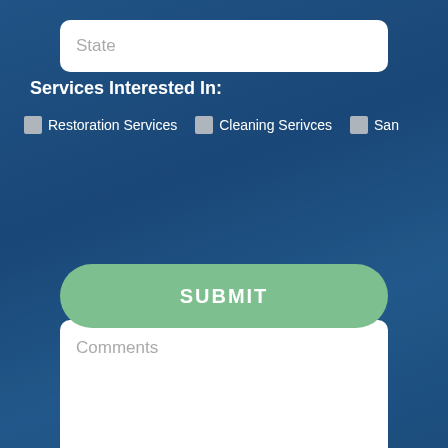[Figure (screenshot): State input field (text input placeholder)]
Services Interested In:
Restoration Services
Cleaning Serivces
San...
[Figure (screenshot): Comments text area with placeholder text]
[Figure (screenshot): Anti-Robot Verification captcha box with Click to start verification button and FriendlyCaptcha branding]
SUBMIT